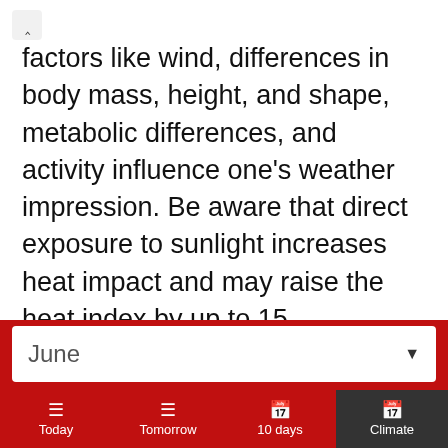factors like wind, differences in body mass, height, and shape, metabolic differences, and activity influence one's weather impression. Be aware that direct exposure to sunlight increases heat impact and may raise the heat index by up to 15 Fahrenheit (8 Celsius) degrees. Heat index values are particularly important for children. Children are often less aware of the need to rest and re-hydrate. Thirst is a late sign of dehydration - it is vital to remain hydrated, particularly during prolonged physical
June ▼
Today | Tomorrow | 10 days | Climate